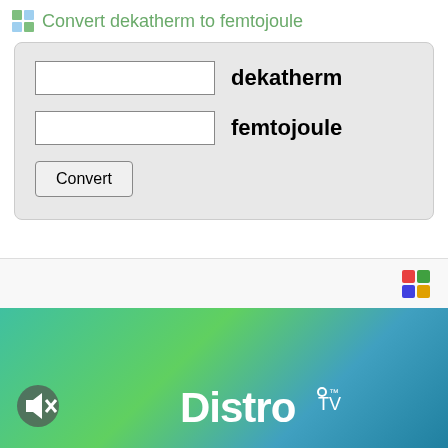Convert dekatherm to femtojoule
[Figure (screenshot): Unit converter form with two input fields labeled 'dekatherm' and 'femtojoule', and a Convert button, on a light gray background panel]
[Figure (screenshot): Bottom advertisement banner showing a white top bar with a colorful grid logo, and a teal/green gradient background with DistrTV branding and a mute icon]